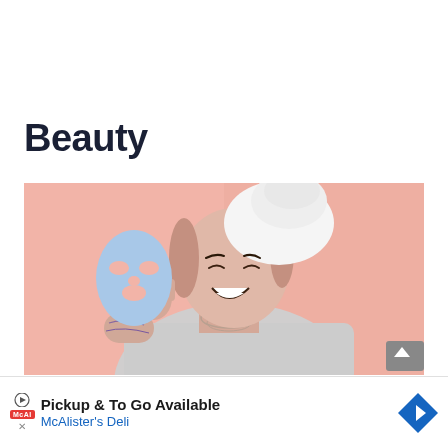Beauty
[Figure (photo): Woman with tattoos wearing a white robe and towel on her head, holding a blue face sheet mask, smiling against a pink background]
[Figure (other): Advertisement banner: Pickup & To Go Available - McAlister's Deli, with play/close icons and arrow logo]